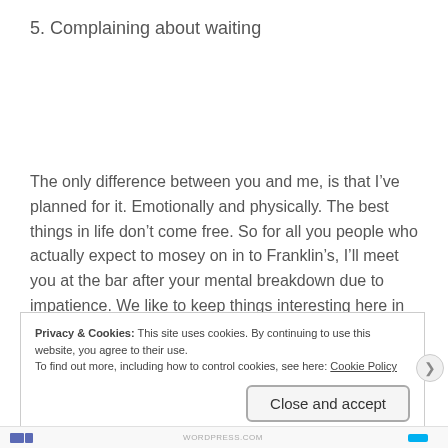5. Complaining about waiting
The only difference between you and me, is that I’ve planned for it. Emotionally and physically. The best things in life don’t come free. So for all you people who actually expect to mosey on in to Franklin’s, I’ll meet you at the bar after your mental breakdown due to impatience. We like to keep things interesting here in Austin.
Privacy & Cookies: This site uses cookies. By continuing to use this website, you agree to their use.
To find out more, including how to control cookies, see here: Cookie Policy
Close and accept